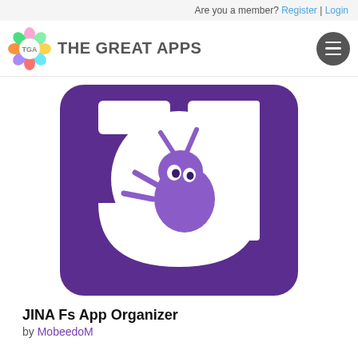Are you a member? Register | Login
[Figure (logo): The Great Apps logo with colorful TGA circle and hamburger menu icon]
[Figure (illustration): JINA Fs App Organizer app icon: purple rounded rectangle with white J shape and a bug character inside a white circle]
JINA Fs App Organizer
by MobeedoM